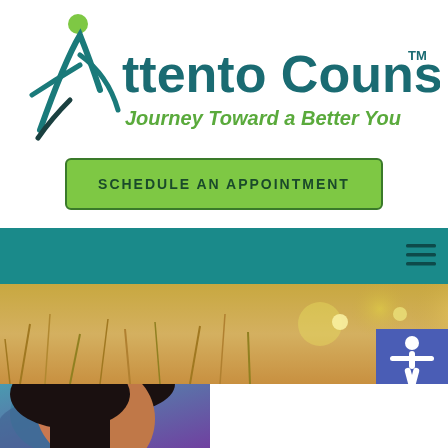[Figure (logo): Attento Counseling logo with stylized figure icon in teal and green, brand name in teal bold text, tagline in green italic]
Attento Counseling™
Journey Toward a Better You
SCHEDULE AN APPOINTMENT
[Figure (screenshot): Teal navigation bar with hamburger menu icon on the right]
[Figure (photo): Nature photograph showing golden grass and sunlight bokeh background]
[Figure (illustration): Blue accessibility icon showing white human figure with arms extended]
[Figure (photo): Partial portrait of a woman with dark hair against colorful background, cropped at bottom of page]